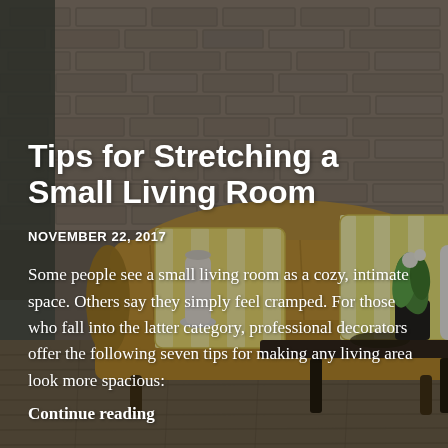[Figure (photo): Background photo of a living room interior with a tufted mustard/gold velvet sofa with yellow and white striped pillows, a dark wooden coffee table, white vases, a green plant, and a rustic exposed brick wall. Warm, cozy atmosphere with wood plank flooring.]
Tips for Stretching a Small Living Room
NOVEMBER 22, 2017
Some people see a small living room as a cozy, intimate space. Others say they simply feel cramped. For those who fall into the latter category, professional decorators offer the following seven tips for making any living area look more spacious:
Continue reading